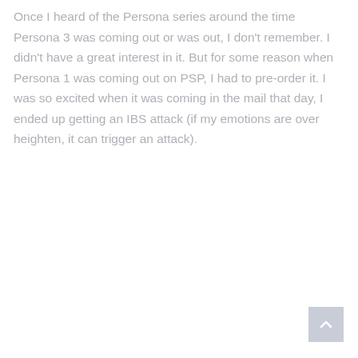Once I heard of the Persona series around the time Persona 3 was coming out or was out, I don't remember. I didn't have a great interest in it. But for some reason when Persona 1 was coming out on PSP, I had to pre-order it. I was so excited when it was coming in the mail that day, I ended up getting an IBS attack (if my emotions are over heighten, it can trigger an attack).